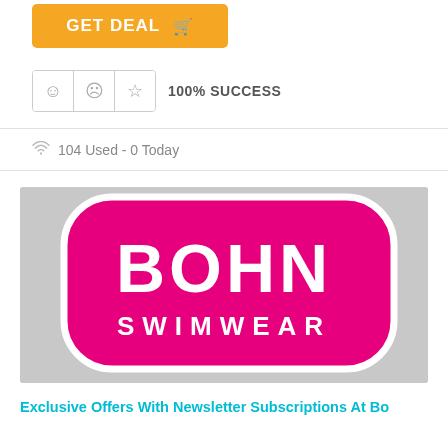[Figure (other): Orange GET DEAL button with shopping cart icon]
[Figure (other): Rating widget with smiley, sad, and star icons, followed by 100% SUCCESS text]
104 Used - 0 Today
[Figure (logo): Bohn Swimwear logo: pink rounded rectangle sticker with white text BOHN SWIMWEAR on grey background]
Exclusive Offers With Newsletter Subscriptions At Bohn Swimwear